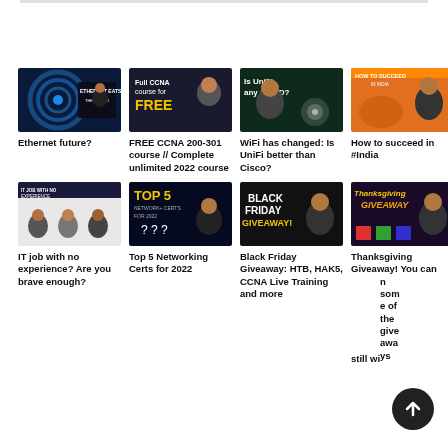[Figure (screenshot): Video thumbnail: Ethernet Eats the World, networking background with man]
Ethernet future?
[Figure (screenshot): Video thumbnail: Full CCNA course for FREE, man smiling]
FREE CCNA 200-301 course // Complete unlimited 2022 course
[Figure (screenshot): Video thumbnail: Is UniFi any GOOD? man thinking]
WiFi has changed: Is UniFi better than Cisco?
[Figure (screenshot): Video thumbnail: How to succeed in India]
How to succeed in #India
[Figure (screenshot): Video thumbnail: IT job with no experience, people sitting]
IT job with no experience? Are you brave enough?
[Figure (screenshot): Video thumbnail: Top 5 Network+ Certs for 2022]
Top 5 Networking Certs for 2022
[Figure (screenshot): Video thumbnail: Black Friday Giveaway]
Black Friday Giveaway: HTB, HAK5, CCNA Live Training and more
[Figure (screenshot): Video thumbnail: Thanksgiving Giveaway]
Thanksgiving Giveaway! You can still win some of the giveaways